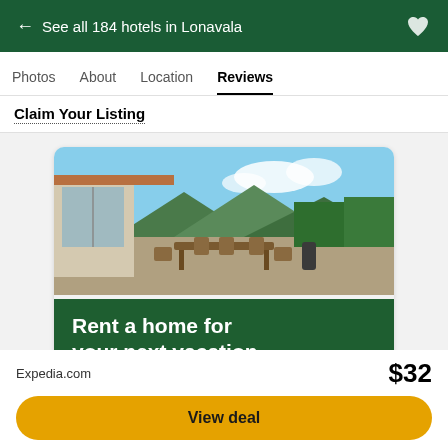← See all 184 hotels in Lonavala
Photos   About   Location   Reviews
Claim Your Listing
[Figure (photo): Outdoor patio of a vacation home with wooden dining furniture, large glass sliding doors, mountains and trees in the background under a partly cloudy sky. Below the photo is a dark green overlay with text 'Rent a home for your next vacation' and a button 'Explore rentals'.]
Expedia.com
$32
View deal